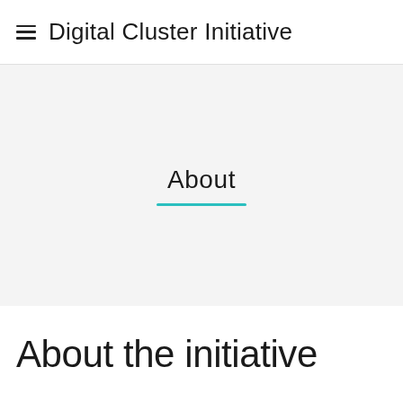Digital Cluster Initiative
About
About the initiative